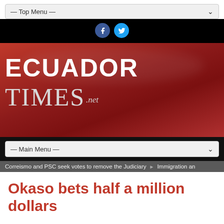— Top Menu —
[Figure (logo): Facebook and Twitter social media icon buttons]
[Figure (logo): Ecuador Times .net logo on red gradient banner background]
— Main Menu —
Correismo and PSC seek votes to remove the Judiciary  ▶  Immigration an
Okaso bets half a million dollars